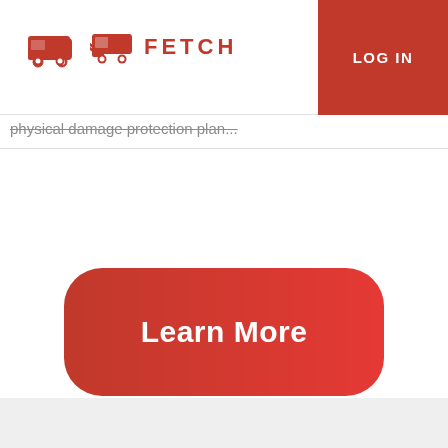FETCH | LOG IN
physical damage protection plan...
[Figure (other): Learn More button - large red rounded rectangle button with white bold text reading 'Learn More']